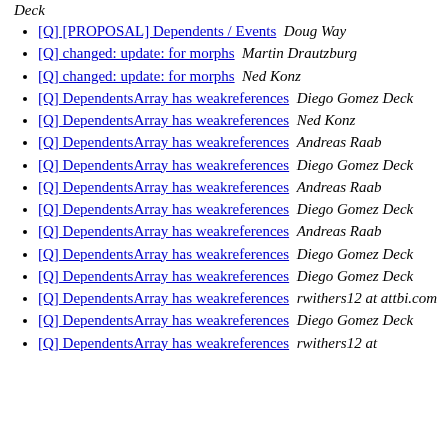[Q] [PROPOSAL] Dependents / Events  Doug Way
[Q] changed: update: for morphs  Martin Drautzburg
[Q] changed: update: for morphs  Ned Konz
[Q] DependentsArray has weakreferences  Diego Gomez Deck
[Q] DependentsArray has weakreferences  Ned Konz
[Q] DependentsArray has weakreferences  Andreas Raab
[Q] DependentsArray has weakreferences  Diego Gomez Deck
[Q] DependentsArray has weakreferences  Andreas Raab
[Q] DependentsArray has weakreferences  Diego Gomez Deck
[Q] DependentsArray has weakreferences  Andreas Raab
[Q] DependentsArray has weakreferences  Diego Gomez Deck
[Q] DependentsArray has weakreferences  Diego Gomez Deck
[Q] DependentsArray has weakreferences  rwithers12 at attbi.com
[Q] DependentsArray has weakreferences  Diego Gomez Deck
[Q] DependentsArray has weakreferences  rwithers12 at